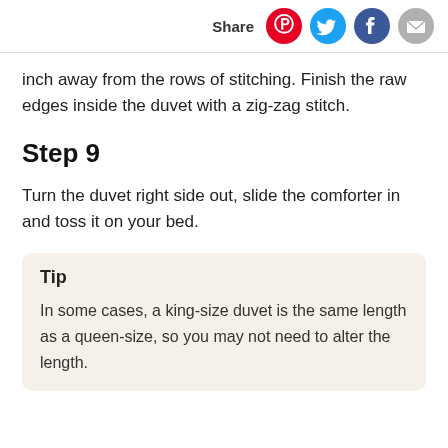Share
inch away from the rows of stitching. Finish the raw edges inside the duvet with a zig-zag stitch.
Step 9
Turn the duvet right side out, slide the comforter in and toss it on your bed.
Tip
In some cases, a king-size duvet is the same length as a queen-size, so you may not need to alter the length.